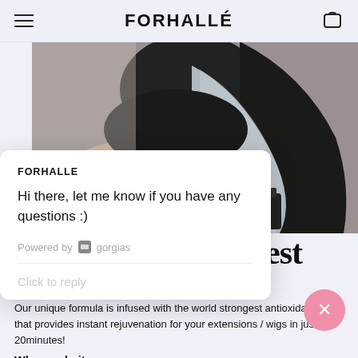FORHALLÉ
[Figure (photo): A woman with long dark and silver/grey hair lying down, showing a small rose tattoo on her shoulder/arm. A dark bottle is visible near her.]
FORHALLE
Hi there, let me know if you have any questions :)
Powered by gorgias
Click to reply
gest
Our unique formula is infused with the world strongest antioxidant oil that provides instant rejuvenation for your extensions / wigs in just 20minutes!
Why we do it
We wear hair extensions and wigs too. That means we understand how difficult it is to keep them looking